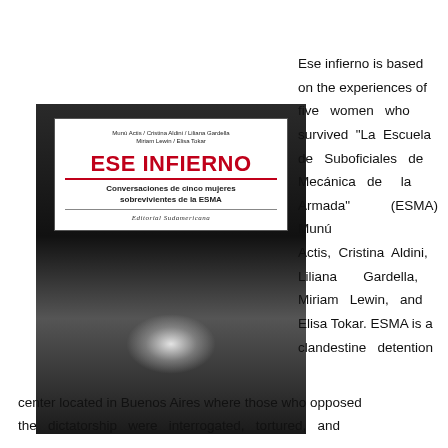[Figure (illustration): Book cover of 'Ese Infierno: Conversaciones de cinco mujeres sobrevivientes de la ESMA' published by Editorial Sudamericana. White text box at top with authors' names (Munú Actis / Cristina Aldini / Liliana Gardella / Miriam Lewin / Elisa Tokar), bold red title 'ESE INFIERNO', red horizontal line, bold subtitle in Spanish, and italic publisher name. Dark black-and-white photographic background with light burst effect.]
Ese infierno is based on the experiences of five women who survived "La Escuela de Suboficiales de Mecánica de la Armada" (ESMA) Munú Actis, Cristina Aldini, Liliana Gardella, Miriam Lewin, and Elisa Tokar. ESMA is a clandestine detention center located in Buenos Aires where those who opposed the dictatorship were interrogated, tortured, and